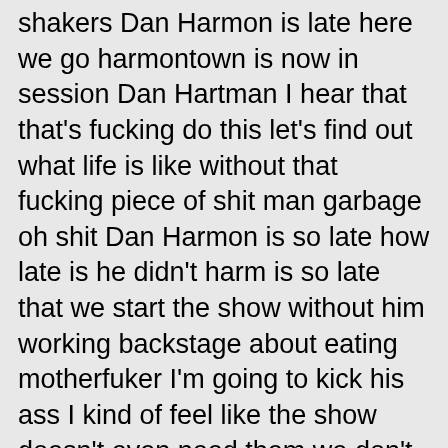shakers Dan Harmon is late here we go harmontown is now in session Dan Hartman I hear that that's fucking do this let's find out what life is like without that fucking piece of shit man garbage oh shit Dan Harmon is so late how late is he didn't harm is so late that we start the show without him working backstage about eating motherfuker I'm going to kick his ass I kind of feel like the show doesn't even need them we don't have to do is just as it has to be called harmontown I say I saved an even here is out of a curtain and says he's going to be here the mayor of Dan harmontown is Dan Harmon